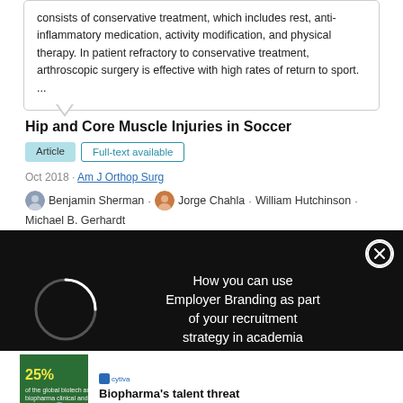consists of conservative treatment, which includes rest, anti-inflammatory medication, activity modification, and physical therapy. In patient refractory to conservative treatment, arthroscopic surgery is effective with high rates of return to sport. ...
Hip and Core Muscle Injuries in Soccer
Article | Full-text available
Oct 2018 · Am J Orthop Surg
Benjamin Sherman · Jorge Chahla · William Hutchinson · Michael B. Gerhardt
[Figure (other): Black overlay popup with spinning loader circle and text: How you can use Employer Branding as part of your recruitment strategy in academia, with a close (X) button]
[Figure (other): Advertisement banner for Cytiva showing 25% statistic with illustration and text: Biopharma's talent threat]